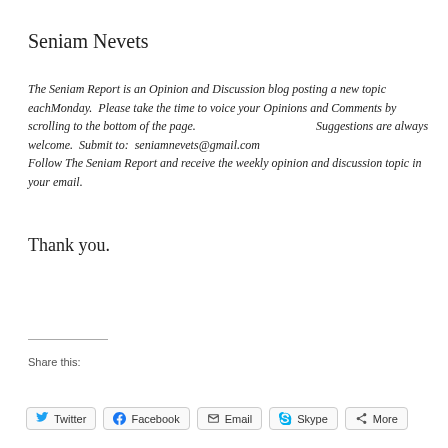Seniam Nevets
The Seniam Report is an Opinion and Discussion blog posting a new topic eachMonday.  Please take the time to voice your Opinions and Comments by scrolling to the bottom of the page.  Suggestions are always welcome.  Submit to:  seniamnevets@gmail.com Follow The Seniam Report and receive the weekly opinion and discussion topic in your email.
Thank you.
Share this:
Twitter  Facebook  Email  Skype  More